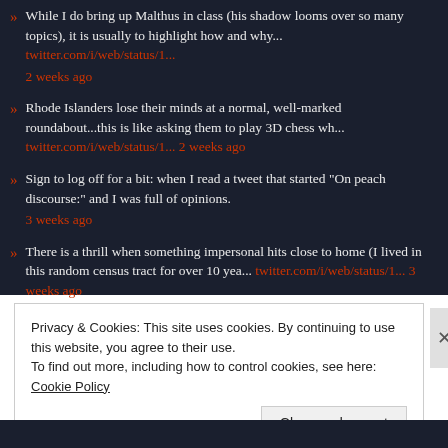» While I do bring up Malthus in class (his shadow looms over so many topics), it is usually to highlight how and why... twitter.com/i/web/status/1... 2 weeks ago
» Rhode Islanders lose their minds at a normal, well-marked roundabout...this is like asking them to play 3D chess wh... twitter.com/i/web/status/1... 2 weeks ago
» Sign to log off for a bit: when I read a tweet that started "On peach discourse:" and I was full of opinions. 3 weeks ago
» There is a thrill when something impersonal hits close to home (I lived in this random census tract for over 10 yea... twitter.com/i/web/status/1... 3 weeks ago
Follow @ProfessorDixon
Privacy & Cookies: This site uses cookies. By continuing to use this website, you agree to their use.
To find out more, including how to control cookies, see here: Cookie Policy
Close and accept